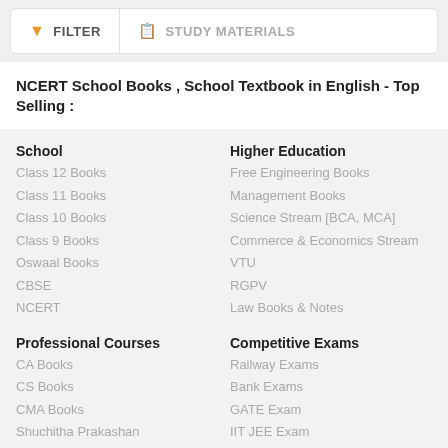FILTER   STUDY MATERIALS
NCERT School Books , School Textbook in English - Top Selling :
School
Class 12 Books
Class 11 Books
Class 10 Books
Class 9 Books
Oswaal Books
CBSE
NCERT
Higher Education
Free Engineering Books
Management Books
Science Stream [BCA, MCA]
Commerce & Economics Stream
VTU
RGPV
Law Books & Notes
Professional Courses
CA Books
CS Books
CMA Books
Shuchitha Prakashan
Schand Books
Competitive Exams
Railway Exams
Bank Exams
GATE Exam
IIT JEE Exam
NEET Exam